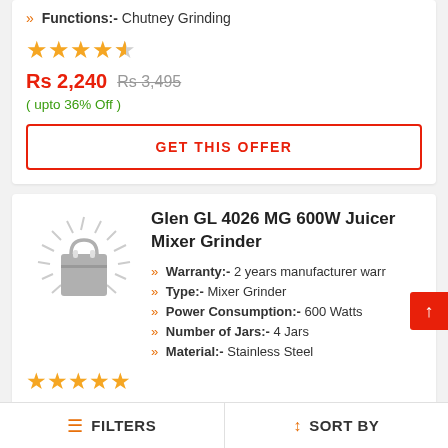» Functions:- Chutney Grinding
★★★★½ — 4.5 stars rating
Rs 2,240  Rs 3,495  ( upto 36% Off )
GET THIS OFFER
Glen GL 4026 MG 600W Juicer Mixer Grinder
[Figure (illustration): Product placeholder image with shopping bag icon and rays]
» Warranty:- 2 years manufacturer warr
» Type:- Mixer Grinder
» Power Consumption:- 600 Watts
» Number of Jars:- 4 Jars
» Material:- Stainless Steel
★★★★★ — 5 stars rating
Rs 3,135  Rs 5,995
FILTERS   SORT BY